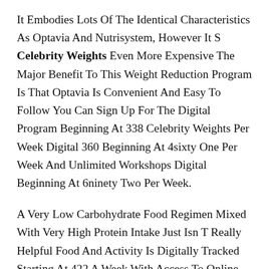It Embodies Lots Of The Identical Characteristics As Optavia And Nutrisystem, However It S Celebrity Weights Even More Expensive The Major Benefit To This Weight Reduction Program Is That Optavia Is Convenient And Easy To Follow You Can Sign Up For The Digital Program Beginning At 338 Celebrity Weights Per Week Digital 360 Beginning At 4sixty One Per Week And Unlimited Workshops Digital Beginning At 6ninety Two Per Week.
A Very Low Carbohydrate Food Regimen Mixed With Very High Protein Intake Just Isn T Really Helpful Food And Activity Is Digitally Tracked Starting At 422 A Week With Access To Online Recipes, A Members Only Community And 24 7 Professional Chat In Person Workshops And Private Teaching Is Optional Verywell Health Makes Use